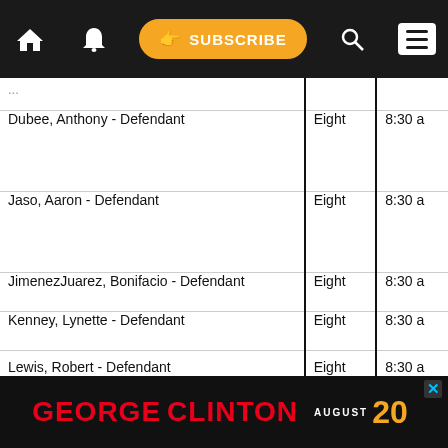[Figure (screenshot): Navigation bar with home icon, bell icon, Subscribe button, search icon, and hamburger menu on dark background]
| Name | Court | Time |
| --- | --- | --- |
| Dubee, Anthony - Defendant | Eight | 8:30 a |
| Jaso, Aaron - Defendant | Eight | 8:30 a |
| JimenezJuarez, Bonifacio - Defendant | Eight | 8:30 a |
| Kenney, Lynette - Defendant | Eight | 8:30 a |
| Lewis, Robert - Defendant | Eight | 8:30 a |
| Menektos, Joseph - Defendant | Eight | 8:30 a |
| Pagano, Tomas - Defendant | Eight | 8:30 a |
| Roe, Alex - Defendant | Eight | 8:30 a |
| [partial row] |  |  |
[Figure (screenshot): Advertisement banner: GEORGE CLINTON AUGUST 20 with close button]